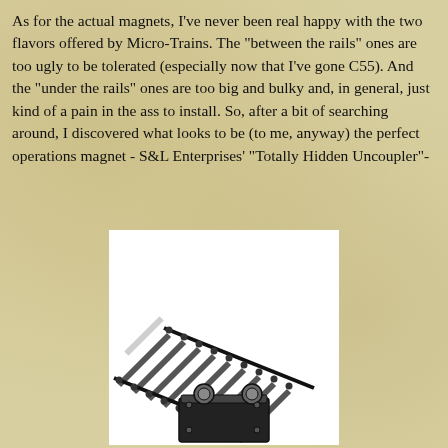As for the actual magnets, I've never been real happy with the two flavors offered by Micro-Trains. The "between the rails" ones are too ugly to be tolerated (especially now that I've gone C55). And the "under the rails" ones are too big and bulky and, in general, just kind of a pain in the ass to install. So, after a bit of searching around, I discovered what looks to be (to me, anyway) the perfect operations magnet - S&L Enterprises' "Totally Hidden Uncoupler"-
[Figure (illustration): An isometric illustration of model railroad track showing rails and ties from an angle, and below it a small rectangular magnet device with two circular posts.]